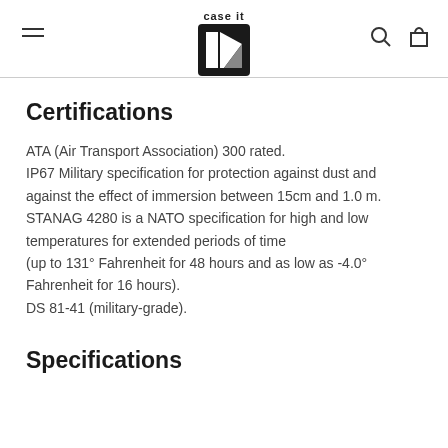case it [logo]
Certifications
ATA (Air Transport Association) 300 rated.
IP67 Military specification for protection against dust and against the effect of immersion between 15cm and 1.0 m.
STANAG 4280 is a NATO specification for high and low temperatures for extended periods of time
(up to 131° Fahrenheit for 48 hours and as low as -4.0° Fahrenheit for 16 hours).
DS 81-41 (military-grade).
Specifications